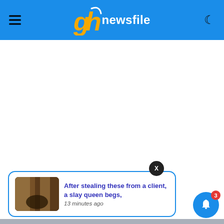ghnewsfile
[Figure (screenshot): White content area, likely an ad or blank space]
After stealing these from a client, a slay queen begs, 13 minutes ago